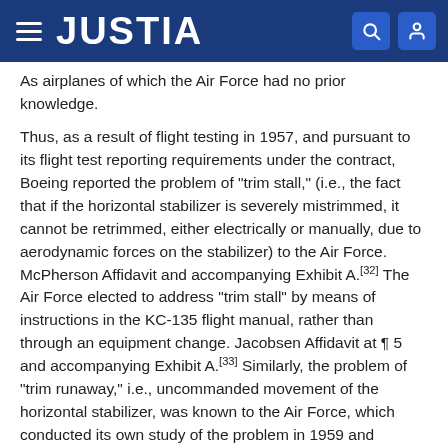JUSTIA
As airplanes of which the Air Force had no prior knowledge.
Thus, as a result of flight testing in 1957, and pursuant to its flight test reporting requirements under the contract, Boeing reported the problem of "trim stall," (i.e., the fact that if the horizontal stabilizer is severely mistrimmed, it cannot be retrimmed, either electrically or manually, due to aerodynamic forces on the stabilizer) to the Air Force. McPherson Affidavit and accompanying Exhibit A.[32] The Air Force elected to address "trim stall" by means of instructions in the KC-135 flight manual, rather than through an equipment change. Jacobsen Affidavit at ¶ 5 and accompanying Exhibit A.[33] Similarly, the problem of "trim runaway," i.e., uncommanded movement of the horizontal stabilizer, was known to the Air Force, which conducted its own study of the problem in 1959 and determined